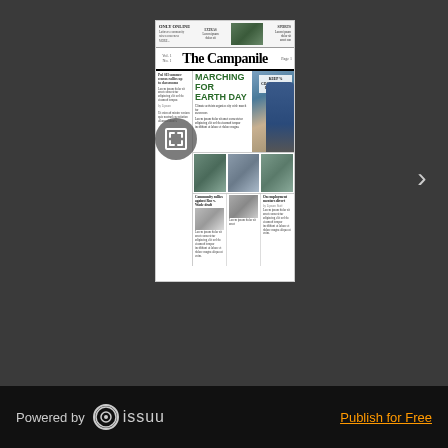[Figure (screenshot): Issuu viewer showing The Campanile newspaper front page with headline MARCHING FOR EARTH DAY and photos of protesters]
Powered by issuu
Publish for Free